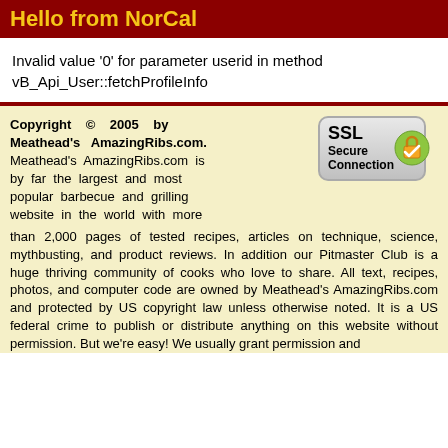Hello from NorCal
Invalid value '0' for parameter userid in method vB_Api_User::fetchProfileInfo
Copyright © 2005 by Meathead's AmazingRibs.com. Meathead's AmazingRibs.com is by far the largest and most popular barbecue and grilling website in the world with more than 2,000 pages of tested recipes, articles on technique, science, mythbusting, and product reviews. In addition our Pitmaster Club is a huge thriving community of cooks who love to share. All text, recipes, photos, and computer code are owned by Meathead's AmazingRibs.com and protected by US copyright law unless otherwise noted. It is a US federal crime to publish or distribute anything on this website without permission. But we're easy! We usually grant permission and
[Figure (other): SSL Secure Connection badge with padlock icon on green background]